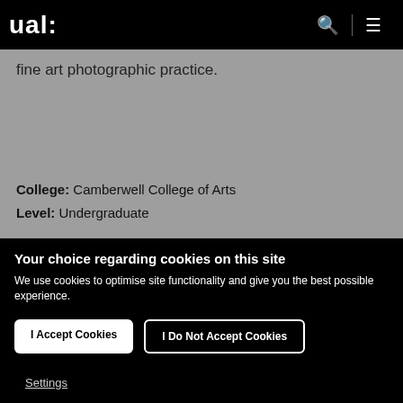ual:
fine art photographic practice.
College: Camberwell College of Arts
Level: Undergraduate
Your choice regarding cookies on this site
We use cookies to optimise site functionality and give you the best possible experience.
I Accept Cookies
I Do Not Accept Cookies
Settings